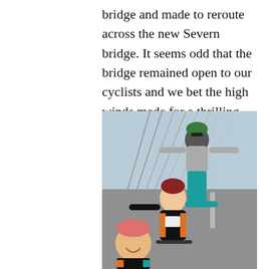bridge and made to reroute across the new Severn bridge. It seems odd that the bridge remained open to our cyclists and we bet the high winds made for a thrilling ride over the river Severn.
[Figure (photo): Three cyclists posing and laughing on a bridge, with bridge cables visible in the background. They are wearing cycling gear with teal and orange colors. One person is standing with arms outstretched while the others are on bikes.]